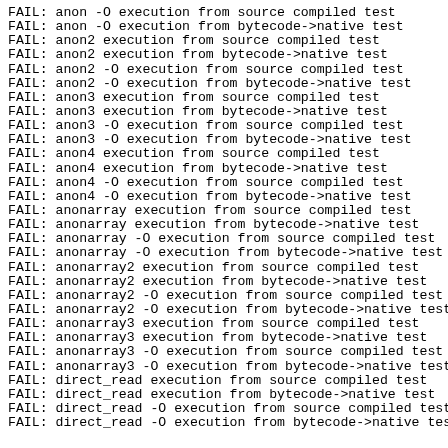FAIL: anon -O execution from source compiled test
FAIL: anon -O execution from bytecode->native test
FAIL: anon2 execution from source compiled test
FAIL: anon2 execution from bytecode->native test
FAIL: anon2 -O execution from source compiled test
FAIL: anon2 -O execution from bytecode->native test
FAIL: anon3 execution from source compiled test
FAIL: anon3 execution from bytecode->native test
FAIL: anon3 -O execution from source compiled test
FAIL: anon3 -O execution from bytecode->native test
FAIL: anon4 execution from source compiled test
FAIL: anon4 execution from bytecode->native test
FAIL: anon4 -O execution from source compiled test
FAIL: anon4 -O execution from bytecode->native test
FAIL: anonarray execution from source compiled test
FAIL: anonarray execution from bytecode->native test
FAIL: anonarray -O execution from source compiled test
FAIL: anonarray -O execution from bytecode->native test
FAIL: anonarray2 execution from source compiled test
FAIL: anonarray2 execution from bytecode->native test
FAIL: anonarray2 -O execution from source compiled test
FAIL: anonarray2 -O execution from bytecode->native test
FAIL: anonarray3 execution from source compiled test
FAIL: anonarray3 execution from bytecode->native test
FAIL: anonarray3 -O execution from source compiled test
FAIL: anonarray3 -O execution from bytecode->native test
FAIL: direct_read execution from source compiled test
FAIL: direct_read execution from bytecode->native test
FAIL: direct_read -O execution from source compiled test
FAIL: direct_read -O execution from bytecode->native test